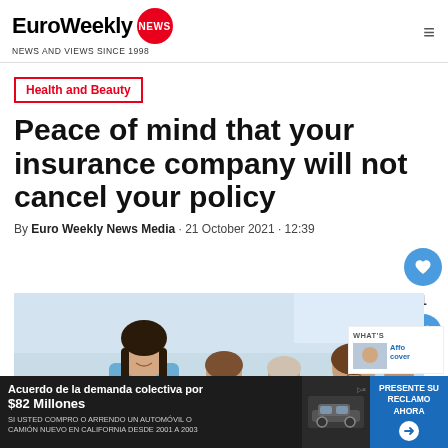EuroWeekly NEWS — NEWS AND VIEWS SINCE 1998
Health and Beauty
Peace of mind that your insurance company will not cancel your policy
By Euro Weekly News Media · 21 October 2021 · 12:39
[Figure (photo): Group of medical professionals including a female nurse in the foreground and several doctors and healthcare workers behind her, in a clinical setting.]
[Figure (photo): Small thumbnail of a related article about affordable health coverage.]
WHAT'S Affo cover
Acuerdo de la demanda colectiva por $82 Millones SI USTED COMPRO O ARRENDO UN AUTOMÓVIL O CAMIÓN NUEVO EN CALIFORNIA DESDE 2001 A 2003